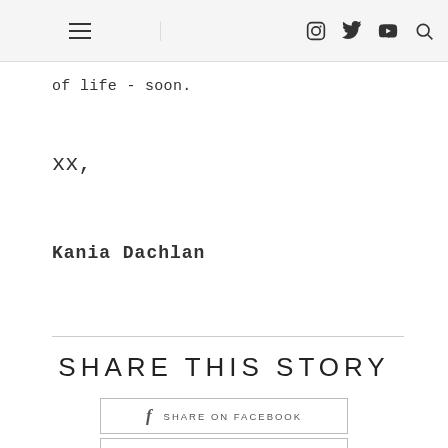Navigation header with hamburger menu, Instagram, Twitter, YouTube, and Search icons
of life - soon.
xx,
Kania Dachlan
SHARE THIS STORY
f  SHARE ON FACEBOOK
SHARE ON TWITTER